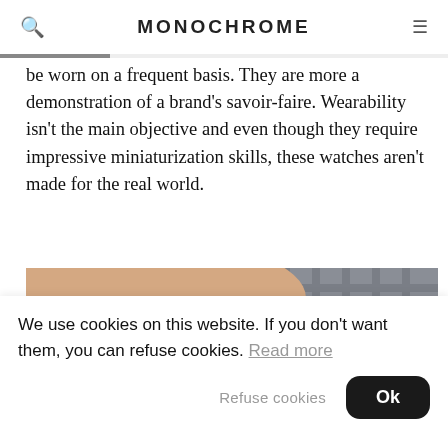MONOCHROME
be worn on a frequent basis. They are more a demonstration of a brand's savoir-faire. Wearability isn't the main objective and even though they require impressive miniaturization skills, these watches aren't made for the real world.
[Figure (photo): Close-up photo of a luxury watch with a dark dial and gold/rose-gold case on a black leather strap, worn on a wrist with a grey checked jacket sleeve and white shirt visible in the background.]
We use cookies on this website. If you don't want them, you can refuse cookies. Read more